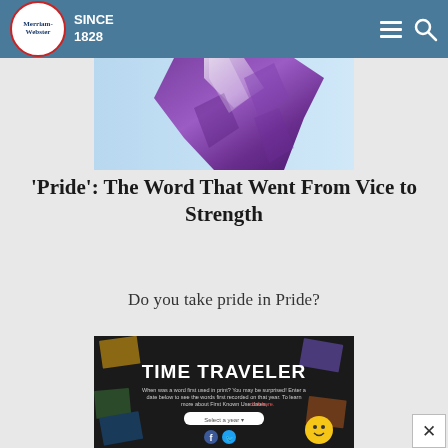Merriam-Webster SINCE 1828
[Figure (photo): Purple fabric or flag against blue background]
'Pride': The Word That Went From Vice to Strength
Do you take pride in Pride?
[Figure (screenshot): Time Traveler interactive feature — dark background with scattered photos, text: TIME TRAVELER. When was a word first used in print? You may be surprised! Enter a date below to see the words first recorded on that year. To learn more about First Known Use dates, click here. Select a year dropdown.]
When Were Words First Used?